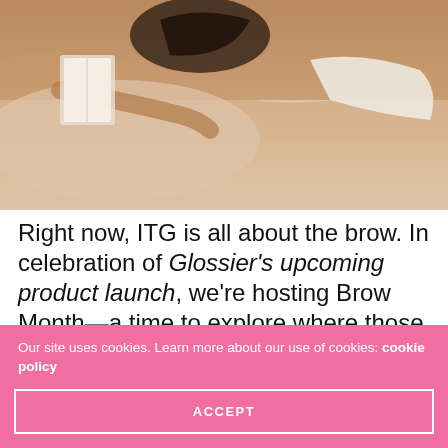[Figure (photo): A woman lying on a bed in white lingerie, photographed from above, resting her chin on her hands and reading]
Right now, ITG is all about the brow. In celebration of Glossier’s upcoming product launch, we’re hosting Brow Month—a time to explore where those arches have been, where they’re going, and how best to care for yours.
Like everything else, selfies are subject to trends. The
Our site uses cookies. Learn more about our use of cookies: cookie policy
ACCEPT